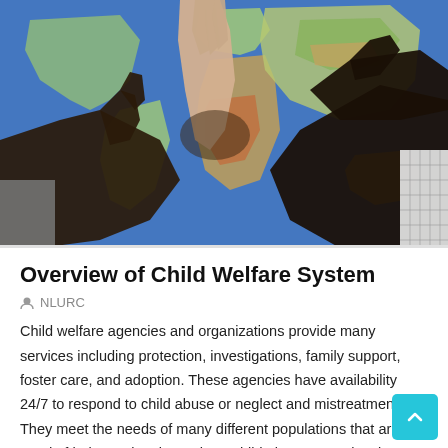[Figure (photo): Multiple hands of different skin tones touching together over a colorful world map, symbolizing global unity and child welfare.]
Overview of Child Welfare System
NLURC
Child welfare agencies and organizations provide many services including protection, investigations, family support, foster care, and adoption. These agencies have availability 24/7 to respond to child abuse or neglect and mistreatment. They meet the needs of many different populations that are in need of help. In situations where child abuse or neglect is